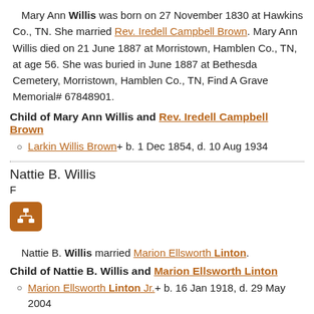Mary Ann Willis was born on 27 November 1830 at Hawkins Co., TN. She married Rev. Iredell Campbell Brown. Mary Ann Willis died on 21 June 1887 at Morristown, Hamblen Co., TN, at age 56. She was buried in June 1887 at Bethesda Cemetery, Morristown, Hamblen Co., TN, Find A Grave Memorial# 67848901.
Child of Mary Ann Willis and Rev. Iredell Campbell Brown
Larkin Willis Brown+ b. 1 Dec 1854, d. 10 Aug 1934
Nattie B. Willis
F
[Figure (other): Orange square button icon with a genealogy/family tree symbol]
Nattie B. Willis married Marion Ellsworth Linton.
Child of Nattie B. Willis and Marion Ellsworth Linton
Marion Ellsworth Linton Jr.+ b. 16 Jan 1918, d. 29 May 2004
Rose Willis